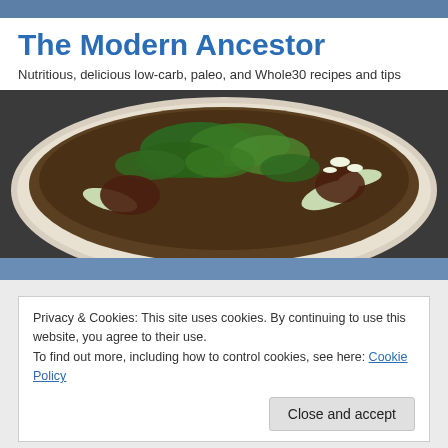The Modern Ancestor
Nutritious, delicious low-carb, paleo, and Whole30 recipes and tips
[Figure (photo): Bowl of soup with meat, bok choy, cilantro, green onions in a dark broth, top-down view]
Privacy & Cookies: This site uses cookies. By continuing to use this website, you agree to their use.
To find out more, including how to control cookies, see here: Cookie Policy
Close and accept
[Figure (photo): Bottom strip showing golden/orange food item, partially visible]